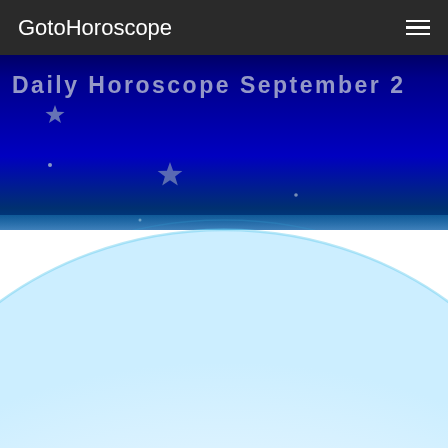GotoHoroscope
Daily Horoscope September 2
[Figure (illustration): Night sky hero image with deep blue to black gradient, scattered stars and a large white glowing arc representing Earth horizon or planet surface at the bottom.]